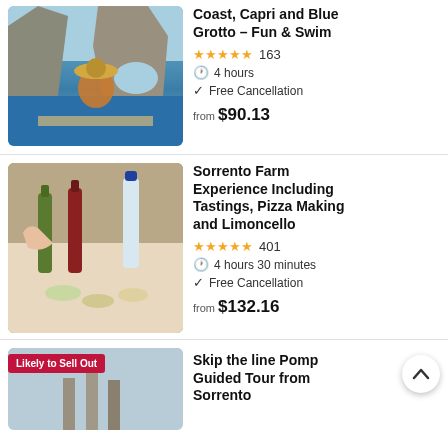[Figure (photo): Person on boat looking at Capri rock formation / Blue Grotto]
Coast, Capri and Blue Grotto - Fun & Swim
★★★★★ 163
4 hours
Free Cancellation
from $90.13
[Figure (photo): Sorrento farm table with olive oil bottles, small dishes of food]
Sorrento Farm Experience Including Tastings, Pizza Making and Limoncello
★★★★★ 401
4 hours 30 minutes
Free Cancellation
from $132.16
[Figure (photo): Pompeii ruins, partial view with Likely to Sell Out badge]
Skip the line Pompeii Guided Tour from Sorrento